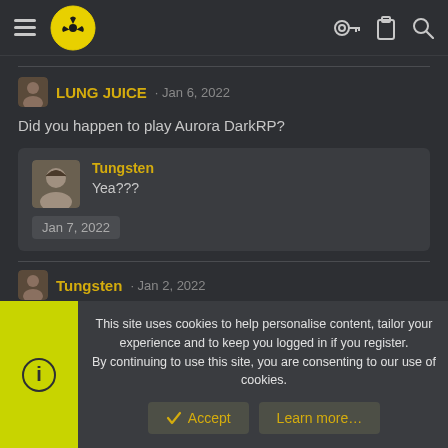Forum navigation header with hamburger menu, radioactive logo, key icon, clipboard icon, search icon
LUNG JUICE · Jan 6, 2022
Did you happen to play Aurora DarkRP?
Tungsten
Yea???
Jan 7, 2022
Tungsten · Jan 2, 2022
This site uses cookies to help personalise content, tailor your experience and to keep you logged in if you register.
By continuing to use this site, you are consenting to our use of cookies.